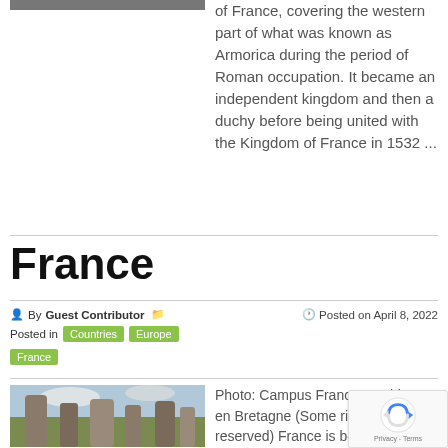[Figure (photo): Partial top edge of an outdoor/landscape photo]
of France, covering the western part of what was known as Armorica during the period of Roman occupation. It became an independent kingdom and then a duchy before being united with the Kingdom of France in 1532 ...
France
By Guest Contributor  Posted in Countries Europe France  Posted on April 8, 2022
[Figure (photo): Photo of large standing stones (menhirs) in Brittany, France, with cloudy sky and green landscape]
Photo: Campus France Menhirs en Bretagne (Some rights reserved) France is bordered by